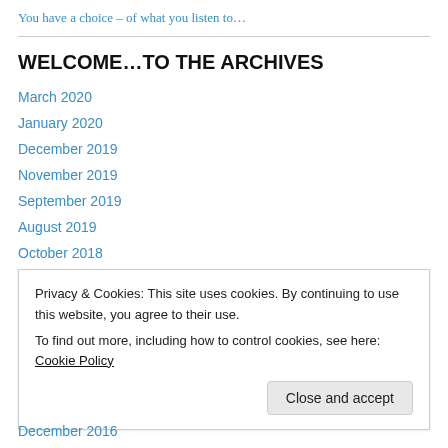You have a choice – of what you listen to…
WELCOME…TO THE ARCHIVES
March 2020
January 2020
December 2019
November 2019
September 2019
August 2019
October 2018
June 2018
Privacy & Cookies: This site uses cookies. By continuing to use this website, you agree to their use. To find out more, including how to control cookies, see here: Cookie Policy
December 2016